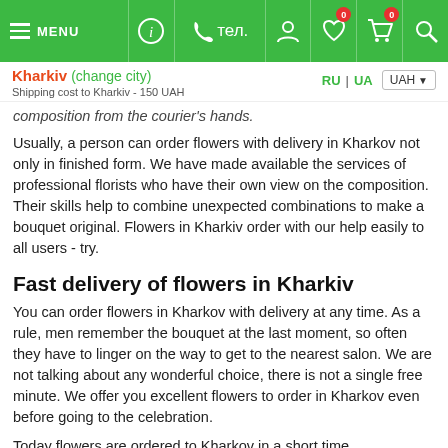MENU | (i) | тел. | [user] | [wishlist] 0 | [cart] 0 | [search]
Kharkiv (change city)
Shipping cost to Kharkiv - 150 UAH
RU | UA | UAH
composition from the courier's hands.
Usually, a person can order flowers with delivery in Kharkov not only in finished form. We have made available the services of professional florists who have their own view on the composition. Their skills help to combine unexpected combinations to make a bouquet original. Flowers in Kharkiv order with our help easily to all users - try.
Fast delivery of flowers in Kharkiv
You can order flowers in Kharkov with delivery at any time. As a rule, men remember the bouquet at the last moment, so often they have to linger on the way to get to the nearest salon. We are not talking about any wonderful choice, there is not a single free minute. We offer you excellent flowers to order in Kharkov even before going to the celebration.
Today flowers are ordered to Kharkov in a short time. Experienced florists in a few minutes to cope with any composition. After that, it is picked up by the courier, who immediately goes on the road. Every our employee knows the city very well, so he quickly gets to the specified address. Enough to buy a bouquet on the site to eliminate the slightest delay. Our company never makes mistakes. Experts are well aware that ordering a bouquet is important, so delays are never allowed.